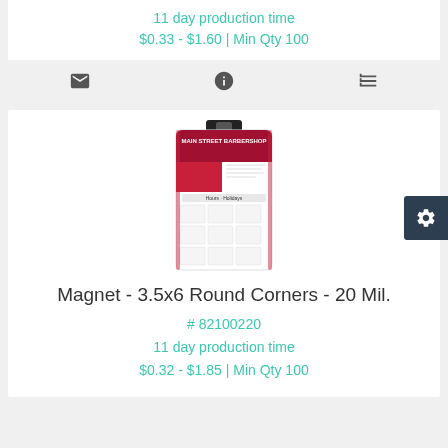11 day production time
$0.33 - $1.60 | Min Qty 100
[Figure (other): Icon bar with envelope, info, and list icons]
[Figure (photo): Product photo of a magnet with barber shop calendar design, 3.5x6 round corners 20 mil]
Magnet - 3.5x6 Round Corners - 20 Mil.
# 82100220
11 day production time
$0.32 - $1.85 | Min Qty 100